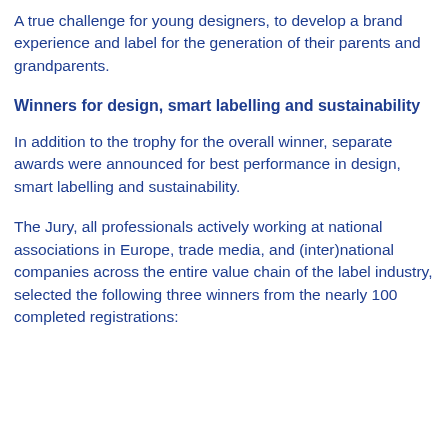A true challenge for young designers, to develop a brand experience and label for the generation of their parents and grandparents.
Winners for design, smart labelling and sustainability
In addition to the trophy for the overall winner, separate awards were announced for best performance in design, smart labelling and sustainability.
The Jury, all professionals actively working at national associations in Europe, trade media, and (inter)national companies across the entire value chain of the label industry, selected the following three winners from the nearly 100 completed registrations: